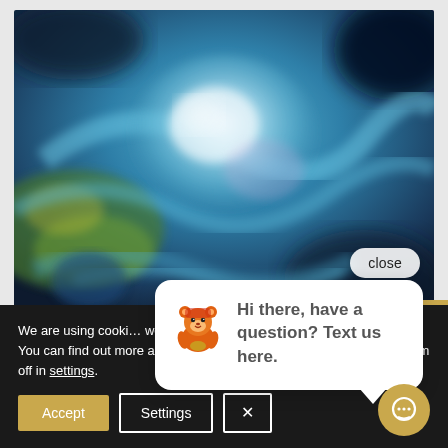[Figure (illustration): Abstract blue swirling painting with white circular form, green and yellow accents at lower left, resembling cosmic or fluid art]
close
[Figure (illustration): Chat popup bubble with a cartoon bear mascot avatar and message: Hi there, have a question? Text us here.]
We are using cooki... website.
You can find out more about which cookies we are using or switch them off in settings.
Accept
Settings
×